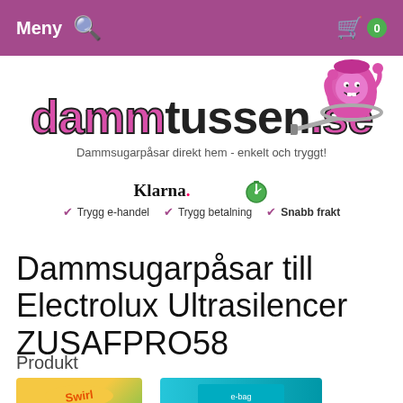Meny  🔍  [cart] 0
[Figure (logo): dammtussen.se logo with pink mascot character holding a vacuum hose]
Dammsugarpåsar direkt hem - enkelt och tryggt!
Klarna.  ✔ Trygg e-handel   ✔ Trygg betalning   ✔ Snabb frakt
Dammsugarpåsar till Electrolux Ultrasilencer ZUSAFPRO58
Produkt
[Figure (photo): Partial product images at bottom of page showing vacuum bags packaging]